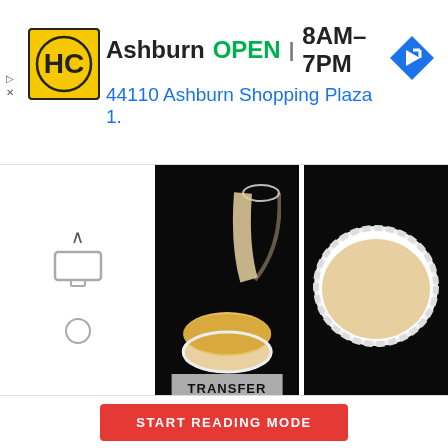[Figure (screenshot): Advertisement banner for HC (Hardware store) in Ashburn showing logo, OPEN status, hours 8AM-7PM, address 44110 Ashburn Shopping Plaza 1., and navigation icon]
[Figure (photo): Two cooking photos side by side on dark background: left photo shows batter being poured into a cup with caramel labeled TRANSFER, right photo shows the filled white scalloped cup with batter/caramel mixture]
Transfer the batter we had prepared earlier and place it inside the cup contained the remaining caramel.
[Figure (screenshot): Red button labeled START READING MODE at the bottom of the page]